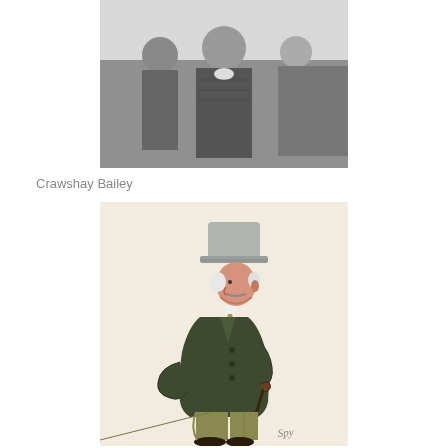[Figure (photo): Black and white photograph of Crawshay Bailey, a heavyset man in a dark overcoat, standing outdoors with other figures partially visible.]
Crawshay Bailey
[Figure (illustration): Colour caricature illustration by 'Spy' of a portly gentleman in profile, wearing a grey top hat, dark green overcoat, and khaki trousers, holding a cane behind his back. Signed 'Spy' at lower right.]